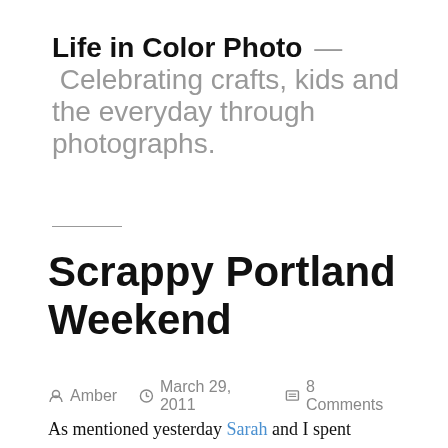Life in Color Photo — Celebrating crafts, kids and the everyday through photographs.
Scrappy Portland Weekend
By Amber  March 29, 2011  8 Comments
As mentioned yesterday Sarah and I spent